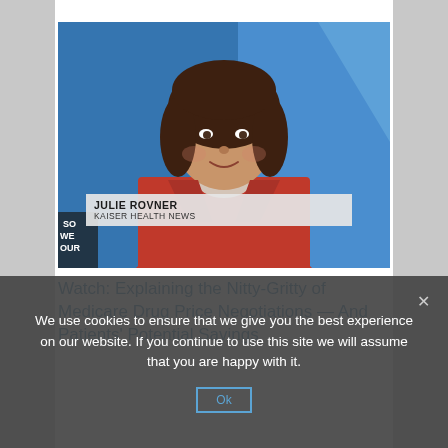[Figure (photo): A woman with brown hair wearing a red blazer, appearing on a television broadcast. Lower-third nameplate reads 'JULIE ROVNER / KAISER HEALTH NEWS'. Background shows a blue studio set.]
Watch: Explaining the Nitty-Gritty of Medicare Drug Price Negotiations — And Patients' Potential Savings
We use cookies to ensure that we give you the best experience on our website. If you continue to use this site we will assume that you are happy with it.